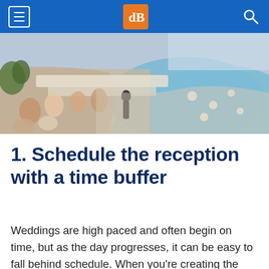dPS navigation bar
[Figure (photo): Aerial view of a wedding reception dinner outdoors next to a curved swimming pool, with guests seated at long tables and waitstaff serving, at sunset near a waterfront.]
1. Schedule the reception with a time buffer
Weddings are high paced and often begin on time, but as the day progresses, it can be easy to fall behind schedule. When you're creating the